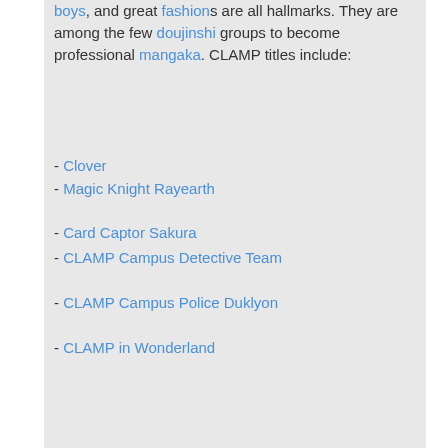boys, and great fashions are all hallmarks. They are among the few doujinshi groups to become professional mangaka. CLAMP titles include:
- Clover
- Magic Knight Rayearth
- Card Captor Sakura
- CLAMP Campus Detective Team
- CLAMP Campus Police Duklyon
- CLAMP in Wonderland
- Miyuki-chan in Wonderland
- RG Veda
- Tokyo Babylon
- X aka X 1999
- Person I Like
- Wish
- Yukionna Shou (Snow Princess Tears)
- 20 Menso ni Onegai
[Twitter icon] [Facebook icon]